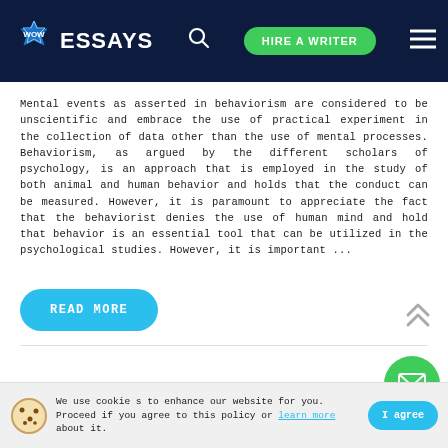WOW ESSAYS — HIRE A WRITER
Mental events as asserted in behaviorism are considered to be unscientific and embrace the use of practical experiment in the collection of data other than the use of mental processes. Behaviorism, as argued by the different scholars of psychology, is an approach that is employed in the study of both animal and human behavior and holds that the conduct can be measured. However, it is paramount to appreciate the fact that the behaviorist denies the use of human mind and hold that behavior is an essential tool that can be utilized in the psychological studies. However, it is important ...
READ MORE
We use cookies to enhance our website for you. Proceed if you agree to this policy or learn more about it.
I agree